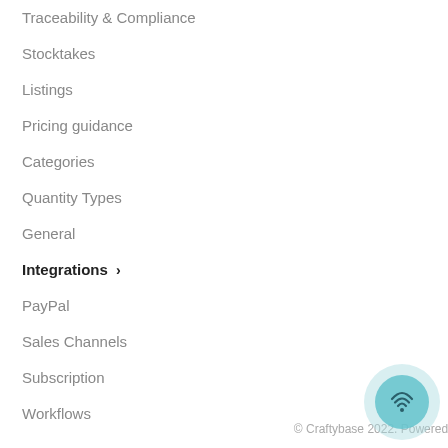Traceability & Compliance
Stocktakes
Listings
Pricing guidance
Categories
Quantity Types
General
Integrations ›
PayPal
Sales Channels
Subscription
Workflows
© Craftybase 2022. Powered by Help Scout